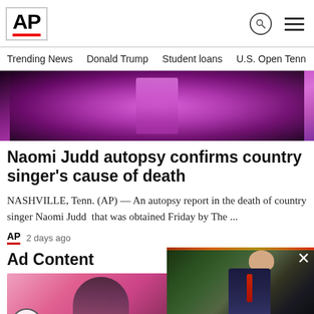AP
Trending News   Donald Trump   Student loans   U.S. Open Tenn
[Figure (photo): Close-up of a performer in a bright pink/magenta outfit holding a microphone on stage]
Naomi Judd autopsy confirms country singer's cause of death
NASHVILLE, Tenn. (AP) — An autopsy report in the death of country singer Naomi Judd that was obtained Friday by The ...
AP  2 days ago
Ad Content
[Figure (photo): Close-up photo of a woman's face with dark hair against a pink background, with accessibility icon button overlay]
[Figure (photo): Overlay video thumbnail showing Donald Trump in a suit with a red tie, outdoors with greenery. Label reads: Trumpsearch:Wha...]